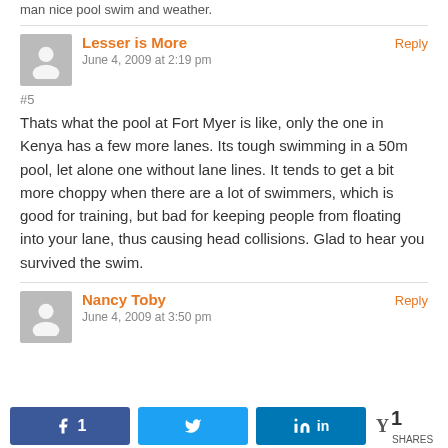man nice pool swim and weather.
Lesser is More
June 4, 2009 at 2:19 pm
#5
Thats what the pool at Fort Myer is like, only the one in Kenya has a few more lanes. Its tough swimming in a 50m pool, let alone one without lane lines. It tends to get a bit more choppy when there are a lot of swimmers, which is good for training, but bad for keeping people from floating into your lane, thus causing head collisions. Glad to hear you survived the swim.
Nancy Toby
June 4, 2009 at 3:50 pm